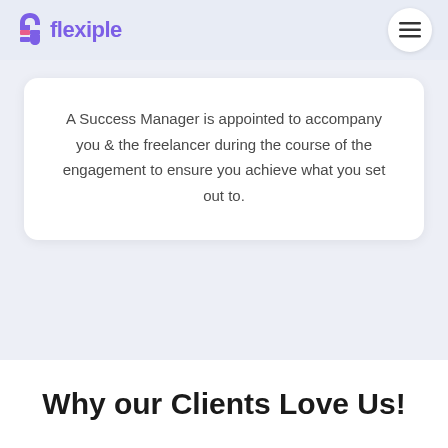flexiple
A Success Manager is appointed to accompany you & the freelancer during the course of the engagement to ensure you achieve what you set out to.
Why our Clients Love Us!